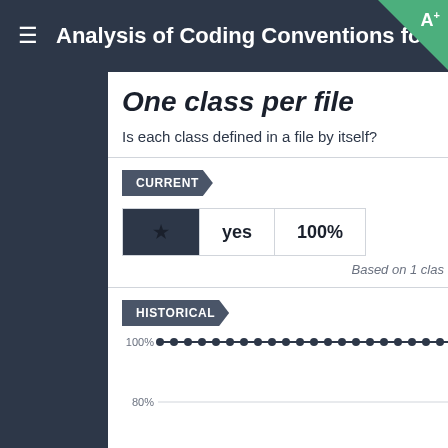Analysis of Coding Conventions for Zend
One class per file
Is each class defined in a file by itself?
CURRENT
|  | yes | 100% |
| --- | --- | --- |
| ★ | yes | 100% |
Based on 1 clas
HISTORICAL
[Figure (line-chart): Line chart showing 100% compliance over time with dots at 100% and a 80% gridline visible]